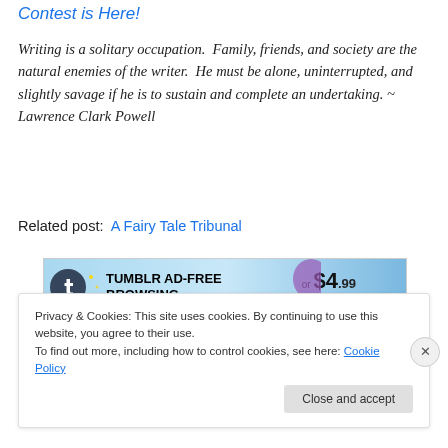Contest is Here!
Writing is a solitary occupation.  Family, friends, and society are the natural enemies of the writer.  He must be alone, uninterrupted, and slightly savage if he is to sustain and complete an undertaking. ~ Lawrence Clark Powell
Related post:  A Fairy Tale Tribunal
[Figure (screenshot): Tumblr ad banner: TUMBLR AD-FREE BROWSING or $4.99 a month]
Privacy & Cookies: This site uses cookies. By continuing to use this website, you agree to their use.
To find out more, including how to control cookies, see here: Cookie Policy
Close and accept